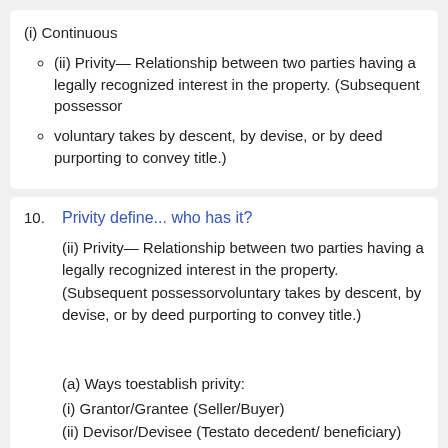(i) Continuous
(ii) Privity— Relationship between two parties having a legally recognized interest in the property. (Subsequent possessor
voluntary takes by descent, by devise, or by deed purporting to convey title.)
Privity define... who has it?
(ii) Privity— Relationship between two parties having a legally recognized interest in the property. (Subsequent possessorvoluntary takes by descent, by devise, or by deed purporting to convey title.)
(a) Ways toestablish privity:
(i) Grantor/Grantee (Seller/Buyer)
(ii) Devisor/Devisee (Testato decedent/ beneficiary)